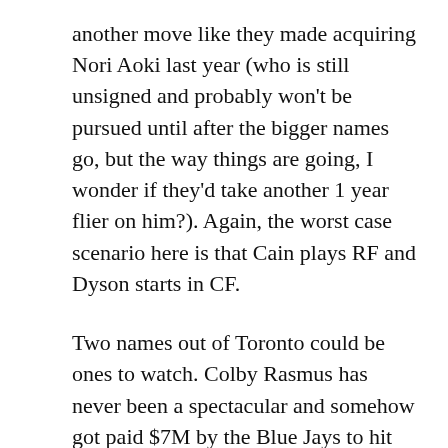another move like they made acquiring Nori Aoki last year (who is still unsigned and probably won't be pursued until after the bigger names go, but the way things are going, I wonder if they'd take another 1 year flier on him?). Again, the worst case scenario here is that Cain plays RF and Dyson starts in CF.
Two names out of Toronto could be ones to watch. Colby Rasmus has never been a spectacular and somehow got paid $7M by the Blue Jays to hit .225/.287/.448 in 2014. We wouldn't pay him anywhere near that , and would probably platoon him with Dyson and keep swapping Cain back and forth between RF and LF.